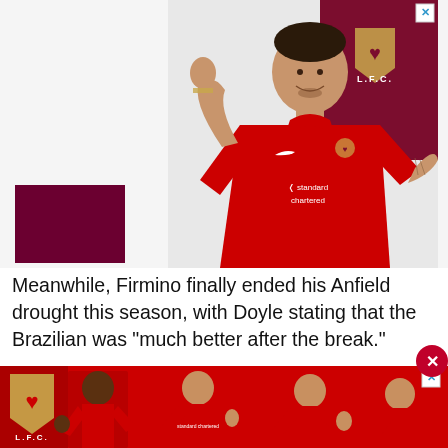[Figure (photo): Liverpool FC advertisement showing a player in a red LFC kit (Standard Chartered sponsor) with one arm raised, smiling, against a white background with dark maroon geometric shapes. LFC crest and 'L.F.C.' text visible in top right. Close button (X) in top right corner.]
Meanwhile, Firmino finally ended his Anfield drought this season, with Doyle stating that the Brazilian was "much better after the break."
[Figure (photo): Liverpool FC advertisement banner at the bottom showing multiple players in red LFC kits against a red background. LFC crest and 'L.F.C.' on the left. Close button (X) in top right.]